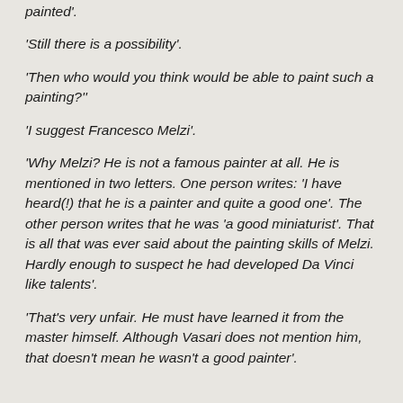painted'.
'Still there is a possibility'.
'Then who would you think would be able to paint such a painting?''
'I suggest Francesco Melzi'.
'Why Melzi? He is not a famous painter at all. He is mentioned in two letters. One person writes: 'I have heard(!) that he is a painter and quite a good one'. The other person writes that he was 'a good miniaturist'. That is all that was ever said about the painting skills of Melzi. Hardly enough to suspect he had developed Da Vinci like talents'.
'That's very unfair. He must have learned it from the master himself. Although Vasari does not mention him, that doesn't mean he wasn't a good painter'.